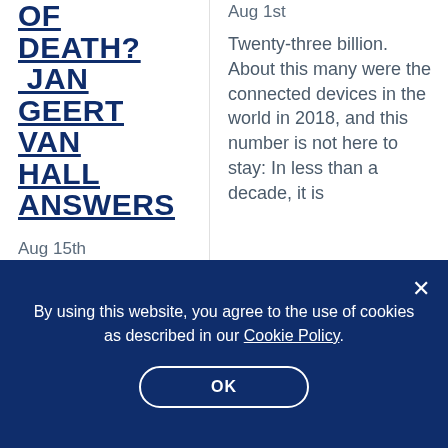OF DEATH? JAN GEERT VAN HALL ANSWERS
Aug 15th
Aug 1st
Twenty-three billion. About this many were the connected devices in the world in 2018, and this number is not here to stay: In less than a decade, it is
By using this website, you agree to the use of cookies as described in our Cookie Policy.
OK